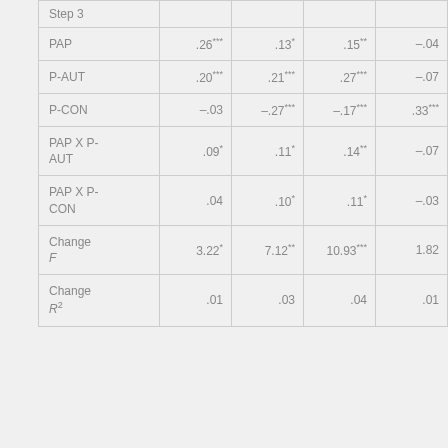|  | Col1 | Col2 | Col3 | Col4 |
| --- | --- | --- | --- | --- |
| Step 3 |  |  |  |  |
| PAP | .26*** | .13* | .15** | –.04 |
| P-AUT | .20*** | .21*** | .27*** | –.07 |
| P-CON | –.03 | –.27*** | –.17*** | .33*** |
| PAP X P-AUT | .09* | .11* | .14** | –.07 |
| PAP X P-CON | .04 | .10* | .11* | –.03 |
| Change F | 3.22* | 7.12** | 10.93*** | 1.82 |
| Change R² | .01 | .03 | .04 | .01 |